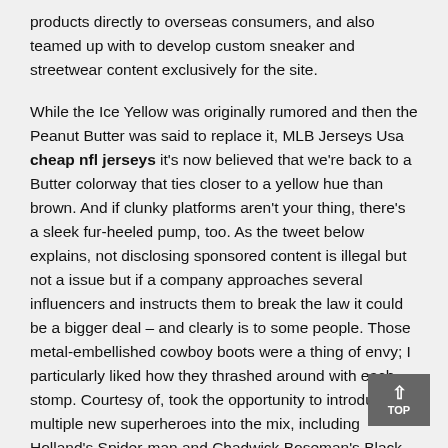products directly to overseas consumers, and also teamed up with to develop custom sneaker and streetwear content exclusively for the site.
While the Ice Yellow was originally rumored and then the Peanut Butter was said to replace it, MLB Jerseys Usa cheap nfl jerseys it's now believed that we're back to a Butter colorway that ties closer to a yellow hue than brown. And if clunky platforms aren't your thing, there's a sleek fur-heeled pump, too. As the tweet below explains, not disclosing sponsored content is illegal but not a issue but if a company approaches several influencers and instructs them to break the law it could be a bigger deal – and clearly is to some people. Those metal-embellished cowboy boots were a thing of envy; I particularly liked how they thrashed around with each stomp. Courtesy of, took the opportunity to introduce multiple new superheroes into the mix, including Holland's Spider-man and Chadwick Boseman's Black Panther. While are fans of these faithfully remade classics, far Wholesale Jerseys NFL fewer consumers are able to get them that want them. Ferragamo today seems to lack a 'grand plan' for the brand, and a stratagem for